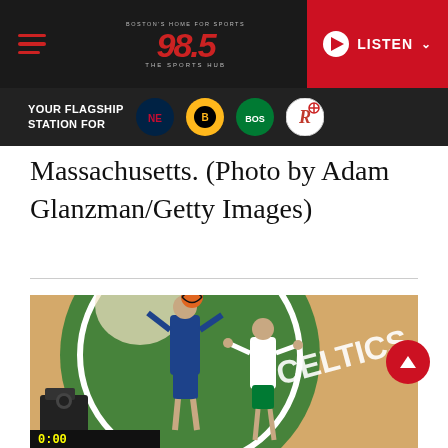[Figure (screenshot): 98.5 The Sports Hub Boston radio station website navigation bar with hamburger menu, 98.5 logo, and red LISTEN button with play icon]
[Figure (screenshot): Your Flagship Station For banner with Patriots, Bruins, Celtics, and Revolution team logos]
Massachusetts. (Photo by Adam Glanzman/Getty Images)
[Figure (photo): Stephen Curry of the Golden State Warriors shooting the basketball over a Boston Celtics defender on the TD Garden court with the Celtics logo visible on the floor]